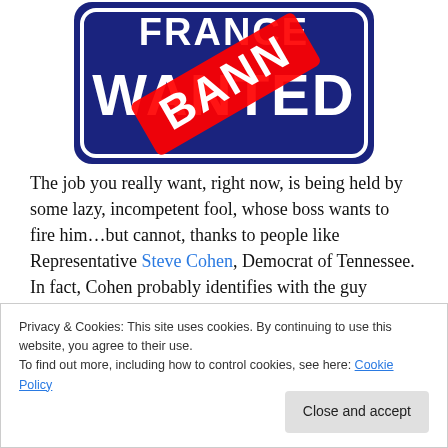[Figure (illustration): A blue 'WANTED' sign with a red diagonal 'BANNED' stamp overlaid across it.]
The job you really want, right now, is being held by some lazy, incompetent fool, whose boss wants to fire him…but cannot, thanks to people like Representative Steve Cohen, Democrat of Tennessee. In fact, Cohen probably identifies with the guy stealing your job.
Privacy & Cookies: This site uses cookies. By continuing to use this website, you agree to their use.
To find out more, including how to control cookies, see here: Cookie Policy